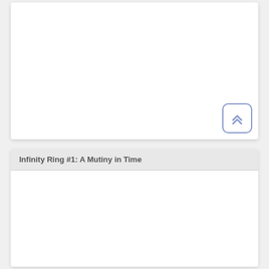[Figure (screenshot): A UI card/panel with white background and a scroll-to-top button in the bottom right corner. The button has a rounded rectangle border in blue-purple color with double chevron (upward arrows) icon.]
Infinity Ring #1: A Mutiny in Time
[Figure (screenshot): A white content panel below the section header, showing an empty content area for the book entry.]